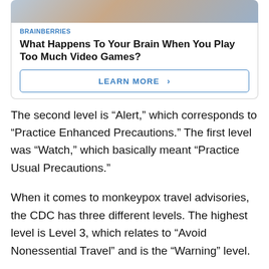[Figure (photo): Partial image of people at top of page, cropped]
BRAINBERRIES
What Happens To Your Brain When You Play Too Much Video Games?
LEARN MORE >
The second level is “Alert,” which corresponds to “Practice Enhanced Precautions.” The first level was “Watch,” which basically meant “Practice Usual Precautions.”
When it comes to monkeypox travel advisories, the CDC has three different levels. The highest level is Level 3, which relates to “Avoid Nonessential Travel” and is the “Warning” level.